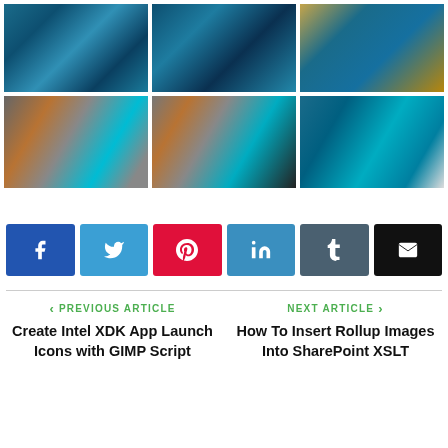[Figure (photo): Grid of 6 photos showing computer hardware: motherboard with blue RAM sticks (top row) and CPU cooler with copper heatpipes (bottom row)]
[Figure (infographic): Social media sharing buttons: Facebook, Twitter, Pinterest, LinkedIn, Tumblr, Email]
< PREVIOUS ARTICLE
NEXT ARTICLE >
Create Intel XDK App Launch Icons with GIMP Script
How To Insert Rollup Images Into SharePoint XSLT